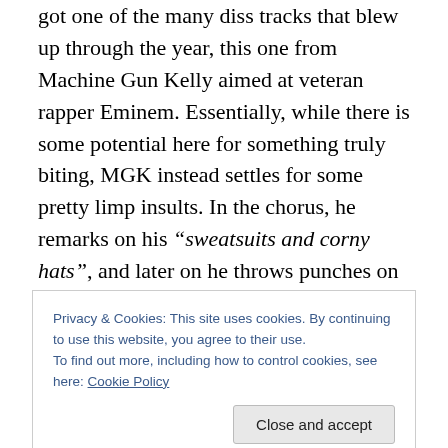got one of the many diss tracks that blew up through the year, this one from Machine Gun Kelly aimed at veteran rapper Eminem. Essentially, while there is some potential here for something truly biting, MGK instead settles for some pretty limp insults. In the chorus, he remarks on his “sweatsuits and corny hats”, and later on he throws punches on such biting subject matter as his choice of reading material (“All you do is read the dictionary and stay inside”) and his height (“How could I even look up to you? You ain’t as tall as me / Five eight and I’m six four”). While there are some creative references to some of
Privacy & Cookies: This site uses cookies. By continuing to use this website, you agree to their use.
To find out more, including how to control cookies, see here: Cookie Policy